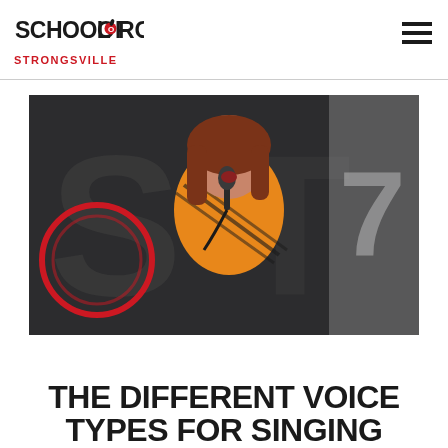SCHOOL OF ROCK STRONGSVILLE
[Figure (photo): Young woman with auburn hair singing into a handheld microphone on stage, wearing an orange and black patterned top, with a School of Rock backdrop behind her.]
THE DIFFERENT VOICE TYPES FOR SINGING